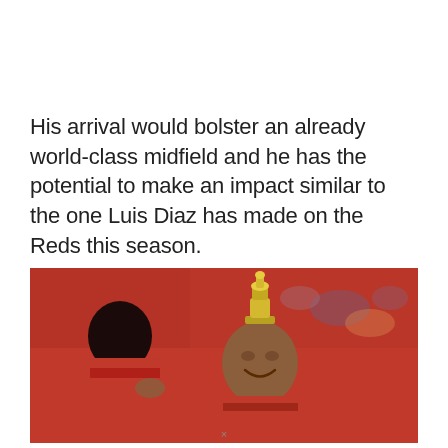His arrival would bolster an already world-class midfield and he has the potential to make an impact similar to the one Luis Diaz has made on the Reds this season.
[Figure (photo): Two Liverpool FC players in red jerseys celebrating on a football pitch in front of red stadium seats. One player has a trophy or ornament placed playfully on his head. Crowd visible in blurred background.]
×